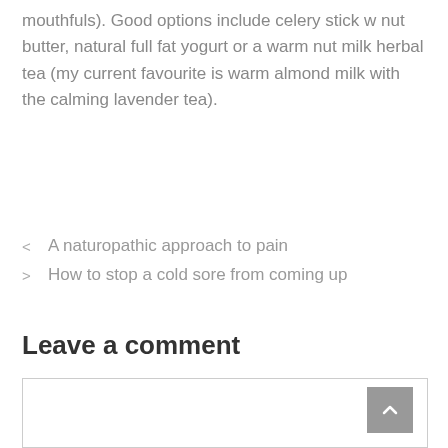mouthfuls). Good options include celery stick w nut butter, natural full fat yogurt or a warm nut milk herbal tea (my current favourite is warm almond milk with the calming lavender tea).
< A naturopathic approach to pain
> How to stop a cold sore from coming up
Leave a comment